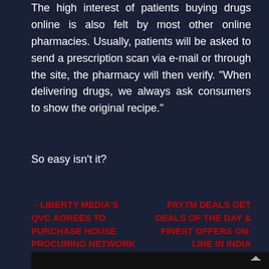The high interest of patients buying drugs online is also felt by most other online pharmacies. Usually, patients will be asked to send a prescription scan via e-mail or through the site, the pharmacy will then verify. "When delivering drugs, we always ask consumers to show the original recipe."
So easy isn't it?
← LIBERTY MEDIA'S QVC AGREES TO PURCHASE HOUSE PROCURING NETWORK
PAYTM DEALS GET DEALS OF THE DAY & FINEST OFFERS ON-LINE IN INDIA @PAYTM.COM →